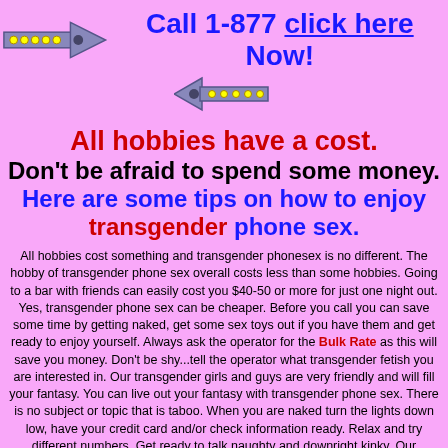Call 1-877 click here Now!
All hobbies have a cost. Don't be afraid to spend some money. Here are some tips on how to enjoy transgender phone sex.
All hobbies cost something and transgender phonesex is no different. The hobby of transgender phone sex overall costs less than some hobbies. Going to a bar with friends can easily cost you $40-50 or more for just one night out. Yes, transgender phone sex can be cheaper. Before you call you can save some time by getting naked, get some sex toys out if you have them and get ready to enjoy yourself. Always ask the operator for the Bulk Rate as this will save you money. Don't be shy...tell the operator what transgender fetish you are interested in. Our transgender girls and guys are very friendly and will fill your fantasy. You can live out your fantasy with transgender phone sex. There is no subject or topic that is taboo. When you are naked turn the lights down low, have your credit card and/or check information ready. Relax and try different numbers. Get ready to talk naughty and downright kinky. Our transgender